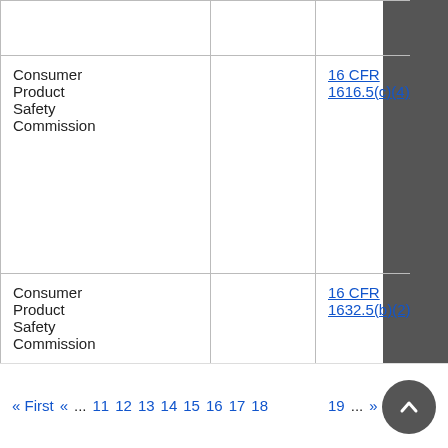| Consumer Product Safety Commission |  | 16 CFR 1616.5(c)(4)(i) | AATCC |
| Consumer Product Safety Commission |  | 16 CFR 1632.5(b)(2)(i) | AATCC |
« First  «  ...  11  12  13  14  15  16  17  18  19  ...  »  Last »